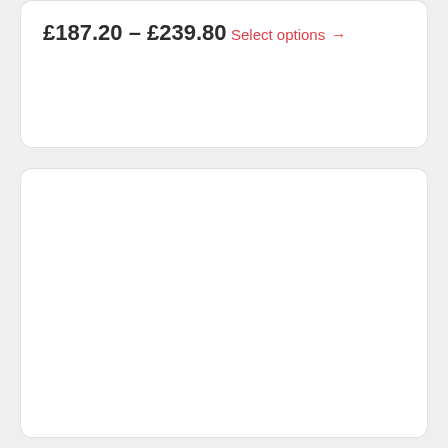£187.20 – £239.80
Select options →